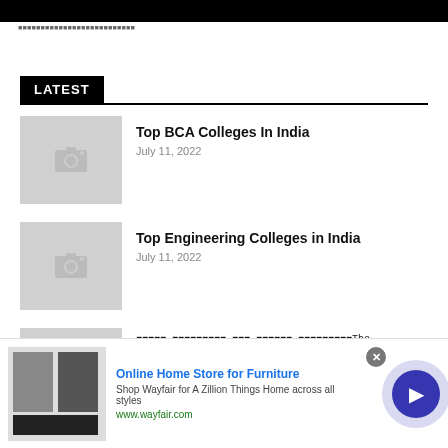LATEST
Top BCA Colleges In India
July 11, 2022
Top Engineering Colleges in India
July 11, 2022
The Success Secrets of World Trade Success Story
[Figure (screenshot): Advertisement banner for Wayfair Online Home Store for Furniture]